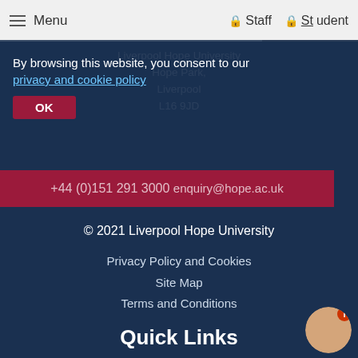≡ Menu   🔒 Staff   🔒 Student
By browsing this website, you consent to our privacy and cookie policy
Liverpool Hope University
Hope Park,
Liverpool
L16 9JD
OK
+44 (0)151 291 3000
enquiry@hope.ac.uk
© 2021 Liverpool Hope University
Privacy Policy and Cookies
Site Map
Terms and Conditions
Quick Links
Alumni/Graduates
Accessibility
Charitable status
Course finder
Schools and Departments
Freedom of Information